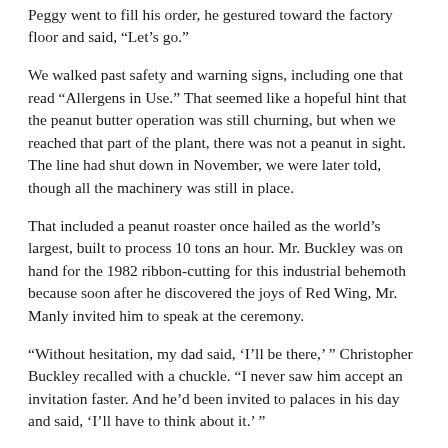Peggy went to fill his order, he gestured toward the factory floor and said, “Let’s go.”
We walked past safety and warning signs, including one that read “Allergens in Use.” That seemed like a hopeful hint that the peanut butter operation was still churning, but when we reached that part of the plant, there was not a peanut in sight. The line had shut down in November, we were later told, though all the machinery was still in place.
That included a peanut roaster once hailed as the world’s largest, built to process 10 tons an hour. Mr. Buckley was on hand for the 1982 ribbon-cutting for this industrial behemoth because soon after he discovered the joys of Red Wing, Mr. Manly invited him to speak at the ceremony.
“Without hesitation, my dad said, ‘I’ll be there,’ ” Christopher Buckley recalled with a chuckle. “I never saw him accept an invitation faster. And he’d been invited to palaces in his day and said, ‘I’ll have to think about it.’ ”
There are articles of Mr. Buckley’s visit, which lacked only a brass band and bunting. When Mr. Buckley and his wife, Pat, reached